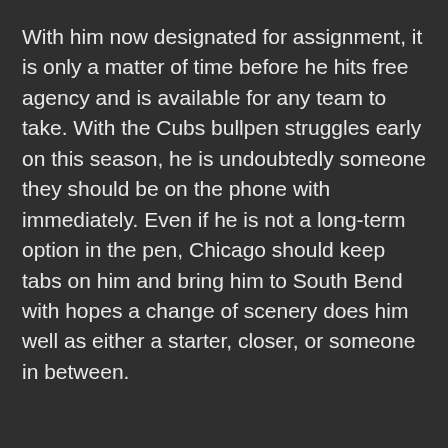With him now designated for assignment, it is only a matter of time before he hits free agency and is available for any team to take. With the Cubs bullpen struggles early on this season, he is undoubtedly someone they should be on the phone with immediately. Even if he is not a long-term option in the pen, Chicago should keep tabs on him and bring him to South Bend with hopes a change of scenery does him well as either a starter, closer, or someone in between.